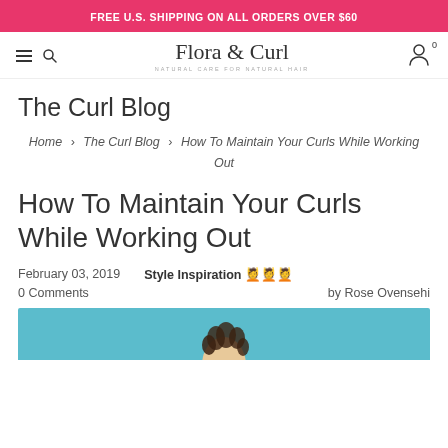FREE U.S. SHIPPING ON ALL ORDERS OVER $60
[Figure (logo): Flora & Curl logo with tagline NATURAL CARE FOR NATURAL HAIR, hamburger menu icon, search icon, and user/cart icon]
The Curl Blog
Home › The Curl Blog › How To Maintain Your Curls While Working Out
How To Maintain Your Curls While Working Out
February 03, 2019   Style Inspiration 💆💆💆   0 Comments   by Rose Ovensehi
[Figure (photo): Partial image at bottom of page, appears to be a person with curly hair, teal/blue background]